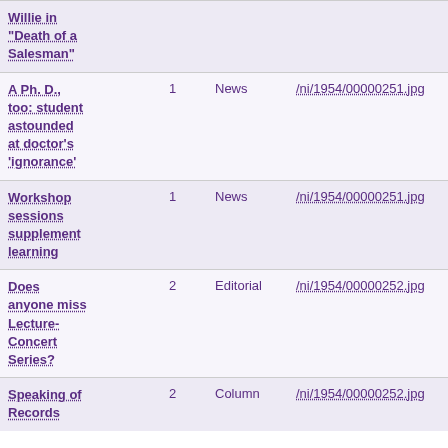| Title | Page | Type | Path |
| --- | --- | --- | --- |
| Willie in "Death of a Salesman" |  |  |  |
| A Ph. D., too: student astounded at doctor's 'ignorance' | 1 | News | /ni/1954/00000251.jpg |
| Workshop sessions supplement learning | 1 | News | /ni/1954/00000251.jpg |
| Does anyone miss Lecture-Concert Series? | 2 | Editorial | /ni/1954/00000252.jpg |
| Speaking of Records | 2 | Column | /ni/1954/00000252.jpg |